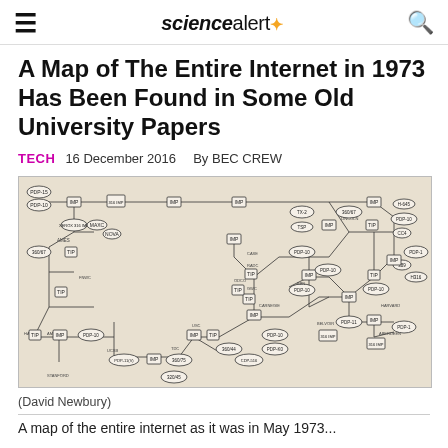sciencealert
A Map of The Entire Internet in 1973 Has Been Found in Some Old University Papers
TECH  16 December 2016  By BEC CREW
[Figure (network-graph): A scanned network diagram of the ARPANET/early internet from 1973, showing nodes labeled with computer names (PDP-10, IMP, TIP, MAXC, NOVA, etc.) connected by lines representing network connections. Nodes include PDP-15, PDP-10, XEROX, MAXC, NOVA, 360/67, AMES, HARVARD, CARNEGIE, USC, STANFORD, BELVOIR, ABERDEEN, H-645, PDP-1, LINCOLN, TX-2, and many others.]
(David Newbury)
A map of the entire internet as it was in May 1973...